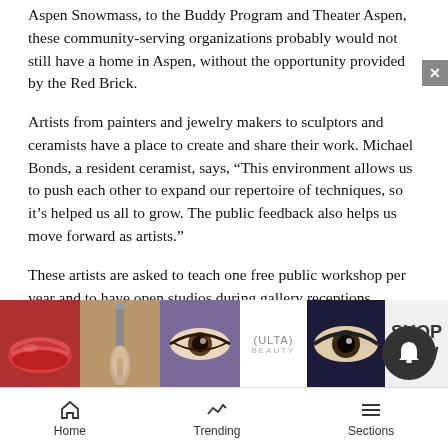Aspen Snowmass, to the Buddy Program and Theater Aspen, these community-serving organizations probably would not still have a home in Aspen, without the opportunity provided by the Red Brick.
Artists from painters and jewelry makers to sculptors and ceramists have a place to create and share their work. Michael Bonds, a resident ceramist, says, “This environment allows us to push each other to expand our repertoire of techniques, so it’s helped us all to grow. The public feedback also helps us move forward as artists.”
These artists are asked to teach one free public workshop per year and to have open studios during gallery receptions.
The Co… in our
[Figure (infographic): Ulta Beauty advertisement banner with makeup imagery including lips, brushes, eyes, Ulta logo, and SHOP NOW call to action]
Home   Trending   Sections